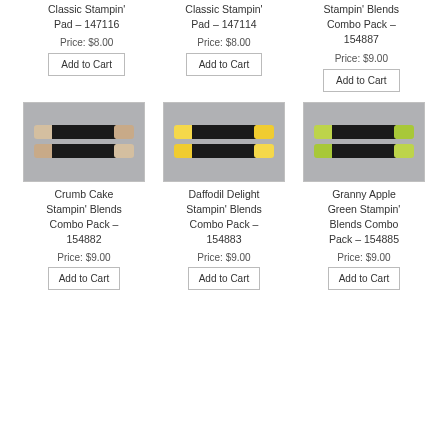Classic Stampin' Pad – 147116
Price: $8.00
Add to Cart
Classic Stampin' Pad – 147114
Price: $8.00
Add to Cart
Stampin' Blends Combo Pack – 154887
Price: $9.00
Add to Cart
[Figure (photo): Crumb Cake Stampin' Blends markers - two dual-tipped markers with beige/tan colored ends on grey background]
Crumb Cake Stampin' Blends Combo Pack – 154882
Price: $9.00
Add to Cart
[Figure (photo): Daffodil Delight Stampin' Blends markers - two dual-tipped markers with yellow colored ends on grey background]
Daffodil Delight Stampin' Blends Combo Pack – 154883
Price: $9.00
Add to Cart
[Figure (photo): Granny Apple Green Stampin' Blends markers - two dual-tipped markers with green colored ends on grey background]
Granny Apple Green Stampin' Blends Combo Pack – 154885
Price: $9.00
Add to Cart